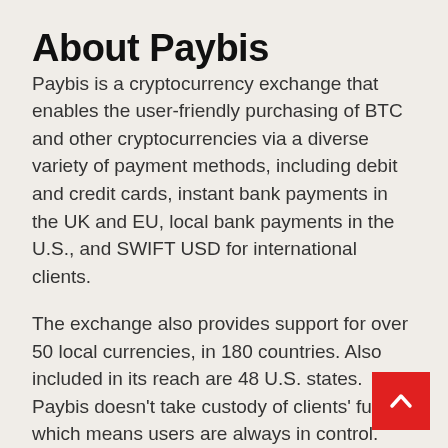About Paybis
Paybis is a cryptocurrency exchange that enables the user-friendly purchasing of BTC and other cryptocurrencies via a diverse variety of payment methods, including debit and credit cards, instant bank payments in the UK and EU, local bank payments in the U.S., and SWIFT USD for international clients.
The exchange also provides support for over 50 local currencies, in 180 countries. Also included in its reach are 48 U.S. states. Paybis doesn't take custody of clients' funds, which means users are always in control.
Finally, Paybis also obtained a temporary cryptocurrency asset registration from the Financial Conduct Authority (FCA), allowing it to operate in the regulator's jurisdiction, pending